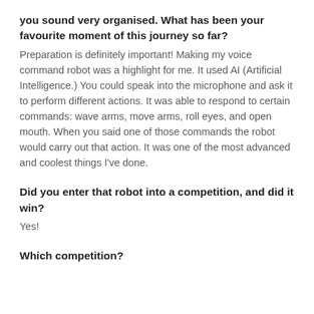you sound very organised. What has been your favourite moment of this journey so far?
Preparation is definitely important! Making my voice command robot was a highlight for me. It used AI (Artificial Intelligence.) You could speak into the microphone and ask it to perform different actions. It was able to respond to certain commands: wave arms, move arms, roll eyes, and open mouth. When you said one of those commands the robot would carry out that action. It was one of the most advanced and coolest things I've done.
Did you enter that robot into a competition, and did it win?
Yes!
Which competition?